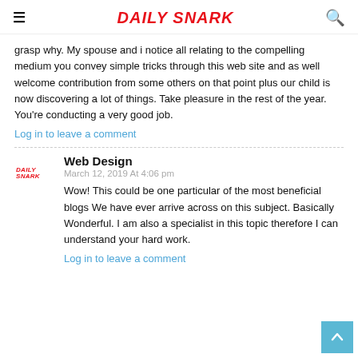Daily Snark
grasp why. My spouse and i notice all relating to the compelling medium you convey simple tricks through this web site and as well welcome contribution from some others on that point plus our child is now discovering a lot of things. Take pleasure in the rest of the year. You're conducting a very good job.
Log in to leave a comment
Web Design
March 12, 2019 At 4:06 pm
Wow! This could be one particular of the most beneficial blogs We have ever arrive across on this subject. Basically Wonderful. I am also a specialist in this topic therefore I can understand your hard work.
Log in to leave a comment